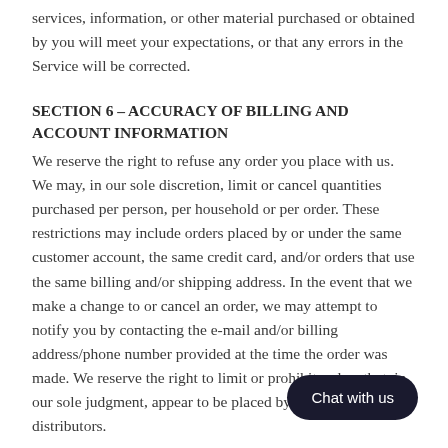services, information, or other material purchased or obtained by you will meet your expectations, or that any errors in the Service will be corrected.
SECTION 6 – ACCURACY OF BILLING AND ACCOUNT INFORMATION
We reserve the right to refuse any order you place with us. We may, in our sole discretion, limit or cancel quantities purchased per person, per household or per order. These restrictions may include orders placed by or under the same customer account, the same credit card, and/or orders that use the same billing and/or shipping address. In the event that we make a change to or cancel an order, we may attempt to notify you by contacting the e-mail and/or billing address/phone number provided at the time the order was made. We reserve the right to limit or prohibit orders that, in our sole judgment, appear to be placed by dealers, resellers or distributors.